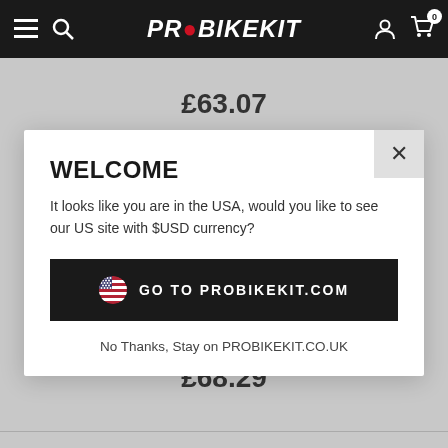PROBIKEKIT — navigation header with hamburger, search, logo, user, and cart icons
£63.07
WELCOME
It looks like you are in the USA, would you like to see our US site with $USD currency?
GO TO PROBIKEKIT.COM
No Thanks, Stay on PROBIKEKIT.CO.UK
£68.29